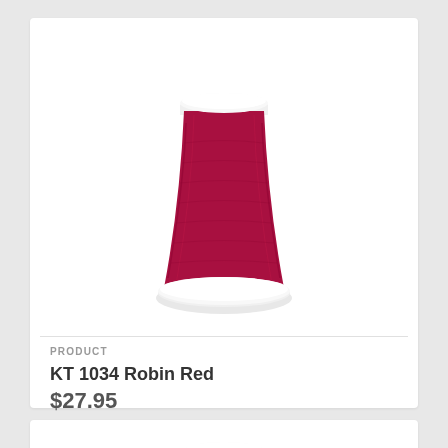[Figure (photo): A spool of red/crimson embroidery or sewing thread (KT 1034 Robin Red) on a white cone-shaped spool, photographed on white background]
PRODUCT
KT 1034 Robin Red
$27.95
[Figure (photo): A partially visible spool of variegated thread in green, brown, and red tones, on a white cone-shaped spool]